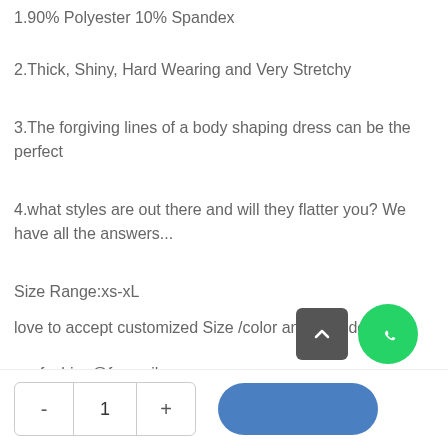1.90% Polyester 10% Spandex
2.Thick, Shiny, Hard Wearing and Very Stretchy
3.The forgiving lines of a body shaping dress can be the perfect
4.what styles are out there and will they flatter you? We have all the answers...
Size Range:xs-xL
love to accept customized Size /color and your designs
zeefashion@foxmail.com